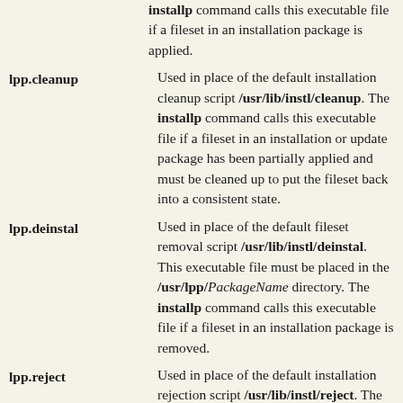installp command calls this executable file if a fileset in an installation package is applied.
lpp.cleanup — Used in place of the default installation cleanup script /usr/lib/instl/cleanup. The installp command calls this executable file if a fileset in an installation or update package has been partially applied and must be cleaned up to put the fileset back into a consistent state.
lpp.deinstal — Used in place of the default fileset removal script /usr/lib/instl/deinstal. This executable file must be placed in the /usr/lpp/PackageName directory. The installp command calls this executable file if a fileset in an installation package is removed.
lpp.reject — Used in place of the default installation rejection script /usr/lib/instl/reject. The